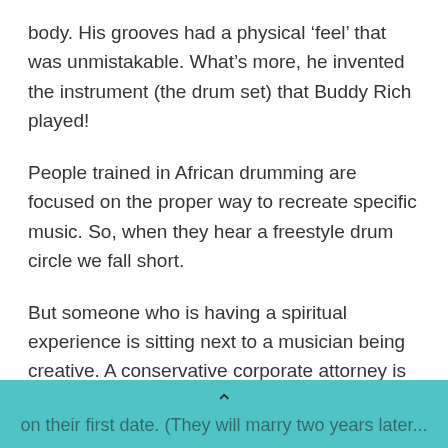body. His grooves had a physical 'feel' that was unmistakable. What's more, he invented the instrument (the drum set) that Buddy Rich played!
People trained in African drumming are focused on the proper way to recreate specific music. So, when they hear a freestyle drum circle we fall short.
But someone who is having a spiritual experience is sitting next to a musician being creative. A conservative corporate attorney is drumming beside a lesbian acupuncturist. A Pagan and a born-again Christian are dueting off each other. A middle-aged couple is drumming for the first time on their first date. (They will marry two years later...
on their first date. (They will marry two years later...